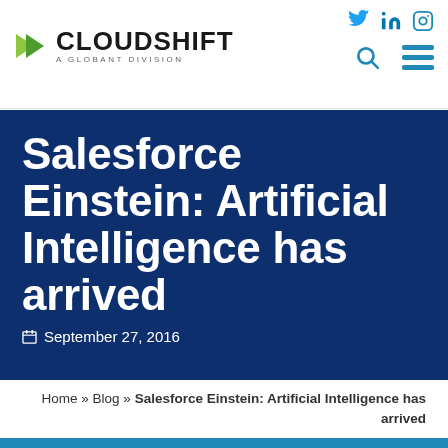Cloudshift – A Globant Division — social icons: Twitter, LinkedIn, Instagram — search and menu icons
Salesforce Einstein: Artificial Intelligence has arrived
September 27, 2016
Home » Blog » Salesforce Einstein: Artificial Intelligence has arrived